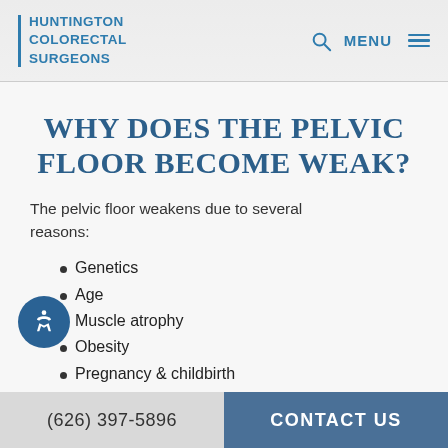HUNTINGTON COLORECTAL SURGEONS
WHY DOES THE PELVIC FLOOR BECOME WEAK?
The pelvic floor weakens due to several reasons:
Genetics
Age
Muscle atrophy
Obesity
Pregnancy & childbirth
(626) 397-5896   CONTACT US